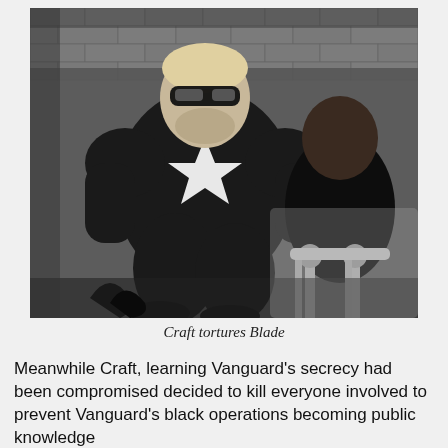[Figure (illustration): Black and white comic/illustration showing a muscular figure in a dark superhero costume with a white star emblem (Craft) apparently torturing another figure (Blade) who is restrained, set against a brick wall background.]
Craft tortures Blade
Meanwhile Craft, learning Vanguard's secrecy had been compromised decided to kill everyone involved to prevent Vanguard's black operations becoming public knowledge